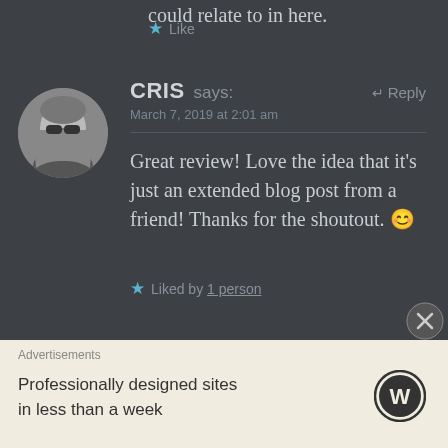could relate to in here.
★ Like
CRIS says:
↵ Reply
March 7, 2019 at 2:01 am
Great review! Love the idea that it's just an extended blog post from a friend! Thanks for the shoutout. 😊
★ Liked by 1 person
Advertisements
Professionally designed sites in less than a week